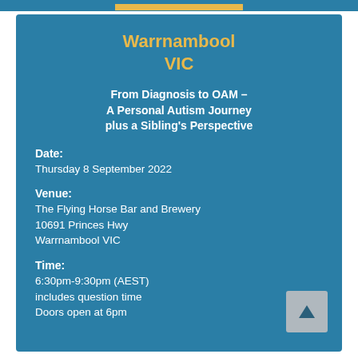Warrnambool VIC
From Diagnosis to OAM – A Personal Autism Journey plus a Sibling's Perspective
Date:
Thursday 8 September 2022
Venue:
The Flying Horse Bar and Brewery
10691 Princes Hwy
Warrnambool VIC
Time:
6:30pm-9:30pm (AEST)
includes question time
Doors open at 6pm